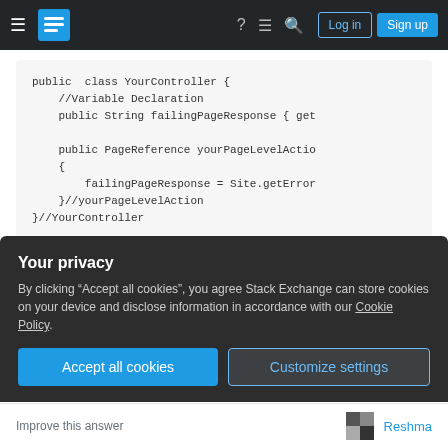Stack Exchange navigation bar with hamburger menu, logo, icons, Log in and Sign up buttons
[Figure (screenshot): Code block showing Java YourController class with variable declaration and page level action method]
Using this you will get idea about what is going wrong and probably that will help you to mitigate
Your privacy
By clicking "Accept all cookies", you agree Stack Exchange can store cookies on your device and disclose information in accordance with our Cookie Policy.
Accept all cookies   Customize settings
Improve this answer   Reshma